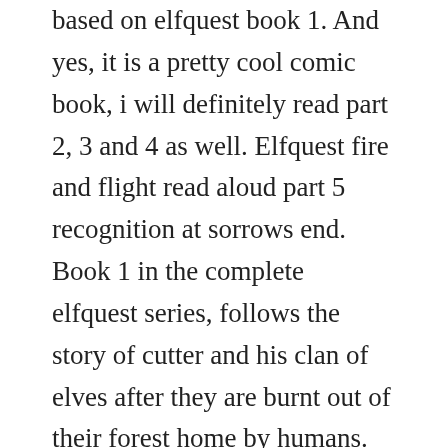based on elfquest book 1. And yes, it is a pretty cool comic book, i will definitely read part 2, 3 and 4 as well. Elfquest fire and flight read aloud part 5 recognition at sorrows end. Book 1 in the complete elfquest series, follows the story of cutter and his clan of elves after they are burnt out of their forest home by humans. Cutter first appearance nightfall first appearance redlance first appearance skywise first appearance supporting characters. Numerous and frequentlyupdated resource results are